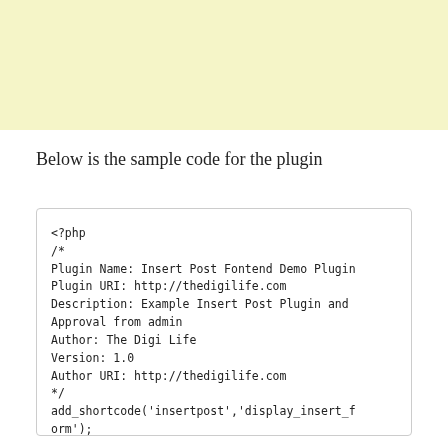[Figure (other): Yellow/cream colored banner at the top of the page]
Below is the sample code for the plugin
<?php
/*
Plugin Name: Insert Post Fontend Demo Plugin
Plugin URI: http://thedigilife.com
Description: Example Insert Post Plugin and Approval from admin
Author: The Digi Life
Version: 1.0
Author URI: http://thedigilife.com
*/
add_shortcode('insertpost','display_insert_form');
function display_insert_form($atts)
{
        if ( !empty($_POST) &&
!wp_verify_nonce($_POST['insert'],'insert_form') )